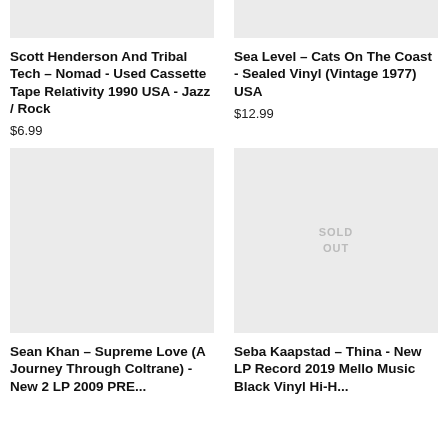[Figure (photo): Product image placeholder for Scott Henderson And Tribal Tech - light gray rectangle]
Scott Henderson And Tribal Tech – Nomad - Used Cassette Tape Relativity 1990 USA - Jazz / Rock
$6.99
[Figure (photo): Product image placeholder for Sea Level - Cats On The Coast - light gray rectangle]
Sea Level – Cats On The Coast - Sealed Vinyl (Vintage 1977) USA
$12.99
[Figure (photo): Product image placeholder for Sean Khan - light gray rectangle]
Sean Khan – Supreme Love (A Journey Through Coltrane) - New 2 LP 2009 PRE...
[Figure (photo): Product image placeholder for Seba Kaapstad - Sold Out - light gray rectangle with SOLD OUT label]
Seba Kaapstad – Thina - New LP Record 2019 Mello Music Black Vinyl Hi-H...